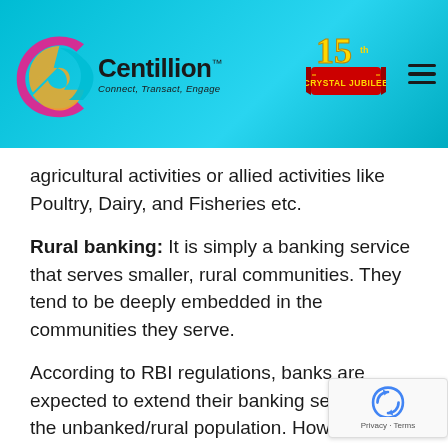[Figure (logo): Centillion logo with tagline 'Connect, Transact, Engage' on a cyan/turquoise header bar, alongside a 15th Crystal Jubilee badge and a hamburger menu icon]
agricultural activities or allied activities like Poultry, Dairy, and Fisheries etc.
Rural banking: It is simply a banking service that serves smaller, rural communities. They tend to be deeply embedded in the communities they serve.
According to RBI regulations, banks are expected to extend their banking services to the unbanked/rural population. However, this noble aim throws up many questions.
To help banks tide over these challenges, RBI, as part of its financial inclusion policy, has allowed banks to deploy Business Correspondents and Business